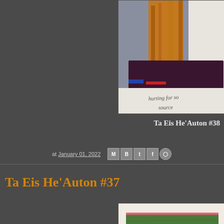[Figure (photo): Partial view of an artwork showing a figure with orange/brown hair against a grey background, with handwritten text reading 'hurting for so... source']
Ta Eis He’Auton #38
at January 01, 2022
[Figure (other): Social sharing icons row: Email (M), Blogger (B), Twitter (t), Facebook (f), Pinterest (circle with P)]
Ta Eis He’Auton #37
[Figure (photo): Partial view of a second artwork showing a green textured rectangle with pink edges on a light background]